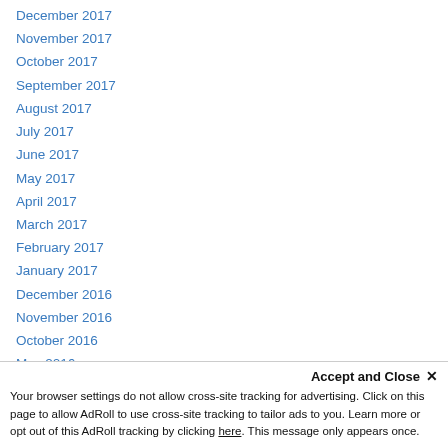December 2017
November 2017
October 2017
September 2017
August 2017
July 2017
June 2017
May 2017
April 2017
March 2017
February 2017
January 2017
December 2016
November 2016
October 2016
May 2016
April 2016
February 2016
January 2016
November 2015
Accept and Close ✕
Your browser settings do not allow cross-site tracking for advertising. Click on this page to allow AdRoll to use cross-site tracking to tailor ads to you. Learn more or opt out of this AdRoll tracking by clicking here. This message only appears once.